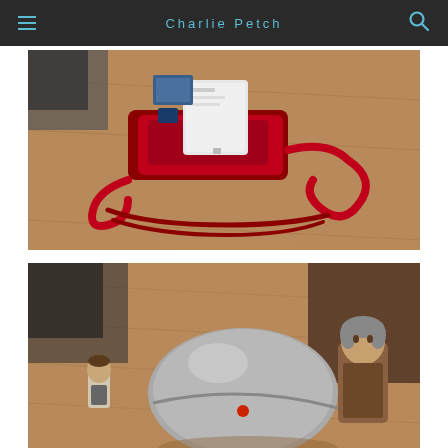Charlie Petch
[Figure (photo): A red decorative Christmas sleigh with a white electronic device (possibly a router or small appliance) placed on it, photographed on a wooden floor from above.]
[Figure (photo): Two figurines or toys — one smaller on the left and one larger on the right — positioned around a large spherical metallic/silver object on a wooden surface, photographed from above.]